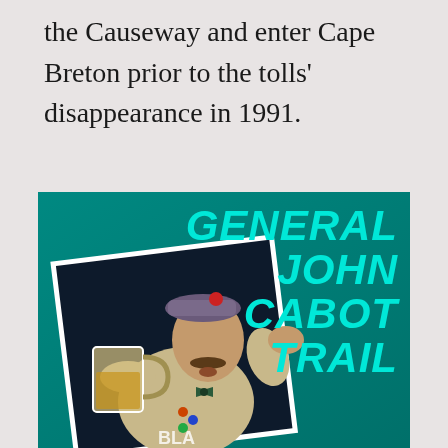the Causeway and enter Cape Breton prior to the tolls' disappearance in 1991.
[Figure (photo): Book or album cover featuring a costumed man dressed as 'General John Cabot Trail' holding a beer mug aloft on a teal/turquoise background. The man wears a trench coat, plaid cap, and bowtie, with badges on his lapel. Behind him is a dark navy angled panel with a white border. Bold cyan italic text reads 'GENERAL JOHN CABOT TRAIL' in the upper right.]